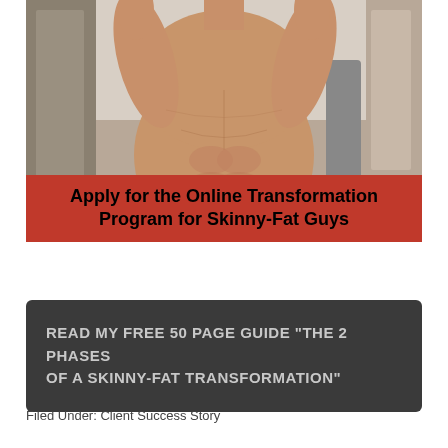[Figure (photo): Shirtless male torso showing muscular physique, taken in what appears to be a locker room or bathroom, person has arms raised above head, wearing dark shorts, mirror selfie style]
Apply for the Online Transformation Program for Skinny-Fat Guys
READ MY FREE 50 PAGE GUIDE "THE 2 PHASES OF A SKINNY-FAT TRANSFORMATION"
Filed Under: Client Success Story